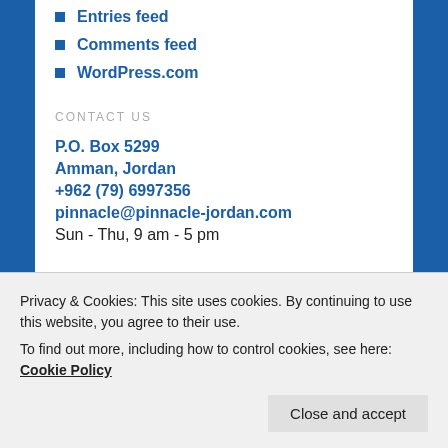Entries feed
Comments feed
WordPress.com
CONTACT US
P.O. Box 5299
Amman, Jordan
+962 (79) 6997356
pinnacle@pinnacle-jordan.com
Sun - Thu, 9 am - 5 pm
VISIT OUR WEBSITE
https://www.pinnacle-jordan.com
Privacy & Cookies: This site uses cookies. By continuing to use this website, you agree to their use.
To find out more, including how to control cookies, see here: Cookie Policy
Close and accept